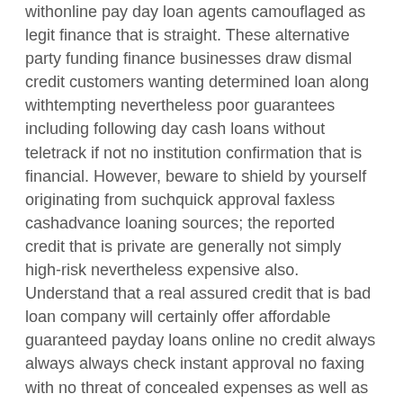withonline pay day loan agents camouflaged as legit finance that is straight. These alternative party funding finance businesses draw dismal credit customers wanting determined loan along withtempting nevertheless poor guarantees including following day cash loans without teletrack if not no institution confirmation that is financial. However, beware to shield by yourself originating from suchquick approval faxless cashadvance loaning sources; the reported credit that is private are generally not simply high-risk nevertheless expensive also. Understand that a real assured credit that is bad loan company will certainly offer affordable guaranteed payday loans online no credit always always always check instant approval no faxing with no threat of concealed expenses as well as obscure phrases.
OnlinePaydaySpot, as a reputed guaranteed cashadvance direct financing organizations only online in United States, offers guaranteed loan approval no credit check instant cashadvance witheasy approval to individuals rejected for individual funding from old-fashioned boat loan companies because of the less than most readily useful credit history. Our group offer short-term bad credit payday advances just as well as briefly term payment loans for folks withunsatisfactory credit.
As dependable lending that is payday online, our business base